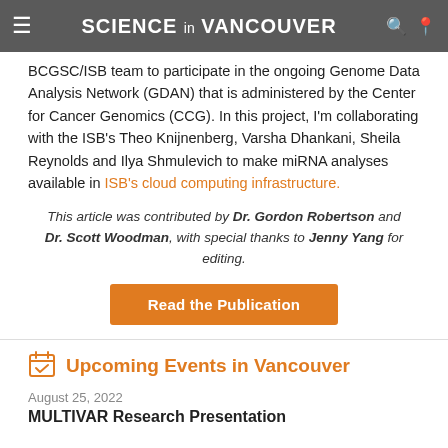SCIENCE in VANCOUVER
BCGSC/ISB team to participate in the ongoing Genome Data Analysis Network (GDAN) that is administered by the Center for Cancer Genomics (CCG). In this project, I'm collaborating with the ISB's Theo Knijnenberg, Varsha Dhankani, Sheila Reynolds and Ilya Shmulevich to make miRNA analyses available in ISB's cloud computing infrastructure.
This article was contributed by Dr. Gordon Robertson and Dr. Scott Woodman, with special thanks to Jenny Yang for editing.
Read the Publication
Upcoming Events in Vancouver
August 25, 2022
MULTIVAR Research Presentation